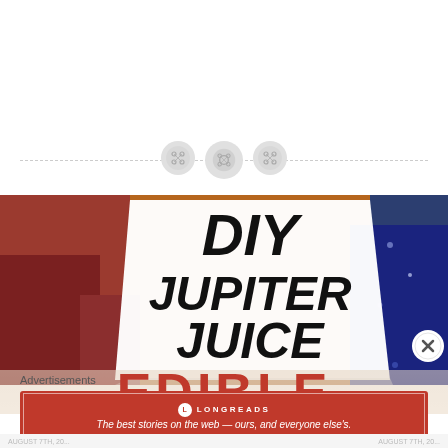[Figure (illustration): Three decorative button icons arranged horizontally on a dashed horizontal divider line]
[Figure (photo): A book or recipe card with large brush-lettered text reading 'DIY JUPITER JUICE' in black on white, with 'EDIBLE' partially visible in red chunky letters below, set against a colorful background with cosmic/food imagery]
Advertisements
[Figure (infographic): Longreads advertisement banner: red background with Longreads logo and tagline 'The best stories on the web — ours, and everyone else's.']